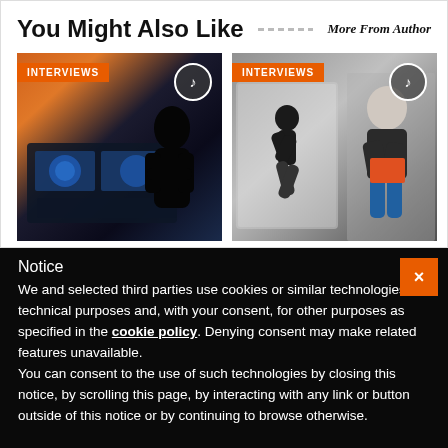You Might Also Like
More From Author
[Figure (photo): Two interview cards side by side. Left card shows a cockpit background with a dark silhouette figure and an INTERVIEWS badge. Right card shows a person jumping/posing in a box and a man sitting on stairs with a book, with an INTERVIEWS badge.]
Notice
We and selected third parties use cookies or similar technologies for technical purposes and, with your consent, for other purposes as specified in the cookie policy. Denying consent may make related features unavailable.
You can consent to the use of such technologies by closing this notice, by scrolling this page, by interacting with any link or button outside of this notice or by continuing to browse otherwise.